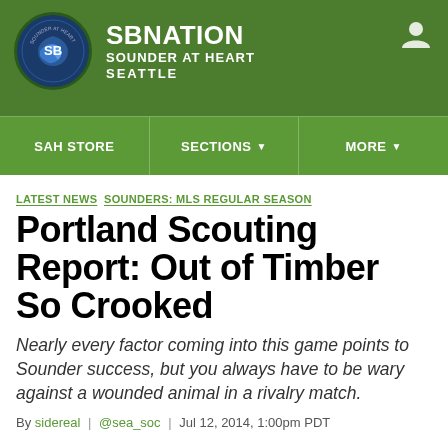SB NATION | SOUNDER AT HEART | SEATTLE
SAH STORE | SECTIONS | MORE
LATEST NEWS  SOUNDERS: MLS REGULAR SEASON
Portland Scouting Report: Out of Timber So Crooked
Nearly every factor coming into this game points to Sounder success, but you always have to be wary against a wounded animal in a rivalry match.
By sidereal | @sea_soc | Jul 12, 2014, 1:00pm PDT